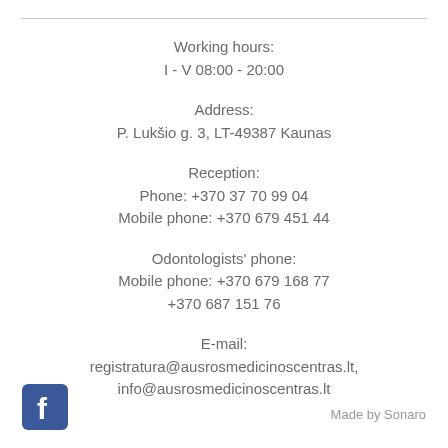Working hours:
I - V 08:00 - 20:00
Address:
P. Lukšio g. 3, LT-49387 Kaunas
Reception:
Phone: +370 37 70 99 04
Mobile phone: +370 679 451 44
Odontologists' phone:
Mobile phone: +370 679 168 77
+370 687 151 76
E-mail:
registratura@ausrosmedicinoscentras.lt,
info@ausrosmedicinoscentras.lt
[Figure (logo): Facebook logo icon, blue square with white f]
Made by Sonaro